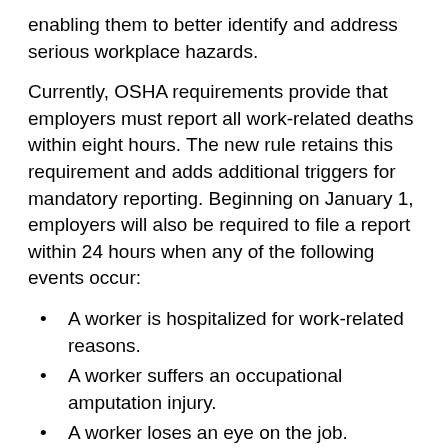enabling them to better identify and address serious workplace hazards.
Currently, OSHA requirements provide that employers must report all work-related deaths within eight hours. The new rule retains this requirement and adds additional triggers for mandatory reporting. Beginning on January 1, employers will also be required to file a report within 24 hours when any of the following events occur:
A worker is hospitalized for work-related reasons.
A worker suffers an occupational amputation injury.
A worker loses an eye on the job.
However, even under the new rules, an employer’s obligation to report these injuries is not unlimited. An occupational hospitalization, amputation or enucleation (eye loss) is subject to the mandatory